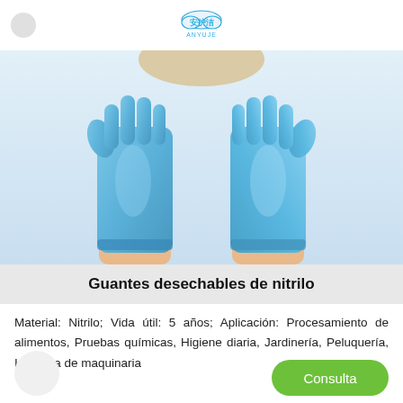安护洁 (ANYUJE brand logo)
[Figure (photo): Two hands wearing blue nitrile disposable gloves, photographed against a light background, showing both gloves fully extended]
Guantes desechables de nitrilo
Material: Nitrilo; Vida útil: 5 años; Aplicación: Procesamiento de alimentos, Pruebas químicas, Higiene diaria, Jardinería, Peluquería, Industria de maquinaria
Consulta